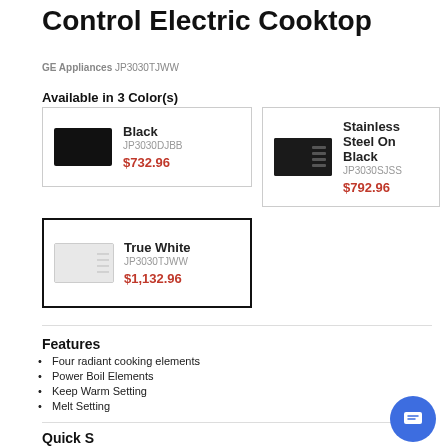Control Electric Cooktop
GE Appliances JP3030TJWW
Available in 3 Color(s)
Black
JP3030DJBB
$732.96
Stainless Steel On Black
JP3030SJSS
$792.96
True White
JP3030TJWW
$1,132.96
Features
Four radiant cooking elements
Power Boil Elements
Keep Warm Setting
Melt Setting
Quick S…